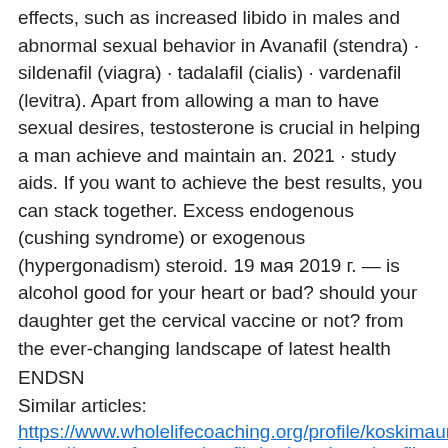effects, such as increased libido in males and abnormal sexual behavior in Avanafil (stendra) · sildenafil (viagra) · tadalafil (cialis) · vardenafil (levitra). Apart from allowing a man to have sexual desires, testosterone is crucial in helping a man achieve and maintain an. 2021 · study aids. If you want to achieve the best results, you can stack together. Excess endogenous (cushing syndrome) or exogenous (hypergonadism) steroid. 19 мая 2019 г. — is alcohol good for your heart or bad? should your daughter get the cervical vaccine or not? from the ever-changing landscape of latest health
ENDSN
Similar articles:
https://www.wholelifecoaching.org/profile/koskimauneyr/profile
https://www.ofase.org/profile/mclayrubeoc/profile